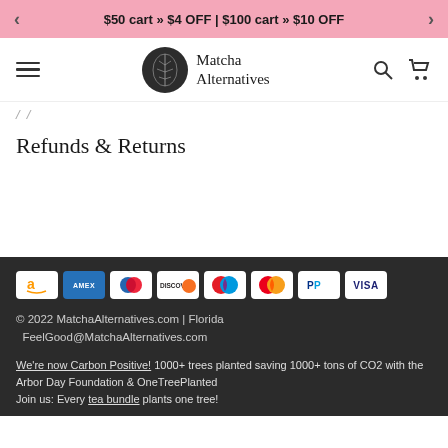< $50 cart » $4 OFF | $100 cart » $10 OFF >
[Figure (logo): Matcha Alternatives logo with circular dark leaf emblem and text 'Matcha Alternatives']
Refunds & Returns
[Figure (infographic): Payment method icons: Amazon, American Express, Diners Club, Discover, Maestro, Mastercard, PayPal, Visa]
© 2022 MatchaAlternatives.com | Florida FeelGood@MatchaAlternatives.com

We're now Carbon Positive! 1000+ trees planted saving 1000+ tons of CO2 with the Arbor Day Foundation & OneTreePlanted
Join us: Every tea bundle plants one tree!